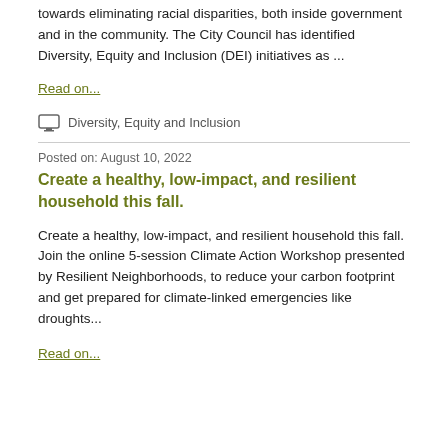towards eliminating racial disparities, both inside government and in the community. The City Council has identified Diversity, Equity and Inclusion (DEI) initiatives as ...
Read on...
Diversity, Equity and Inclusion
Posted on: August 10, 2022
Create a healthy, low-impact, and resilient household this fall.
Create a healthy, low-impact, and resilient household this fall. Join the online 5-session Climate Action Workshop presented by Resilient Neighborhoods, to reduce your carbon footprint and get prepared for climate-linked emergencies like droughts...
Read on...